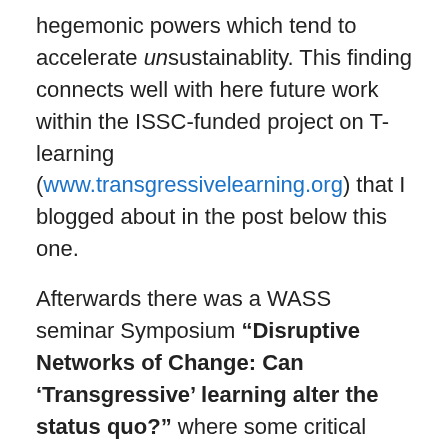hegemonic powers which tend to accelerate unsustainablity. This finding connects well with here future work within the ISSC-funded project on T-learning (www.transgressivelearning.org) that I blogged about in the post below this one.
Afterwards there was a WASS seminar Symposium “Disruptive Networks of Change: Can ‘Transgressive’ learning alter the status quo?” where some critical follow-up questions were asked such as: What types of learning are needed to disrupt ingrained unsustainable behaviour? And how can learning-based change be upscaled? With invited speakers from the fields of environmental education and social learning, and building on the ISSC funded T-learning project which addresses issues of transformative/transgressive learning, we will set out to explore these questions, and possible paths